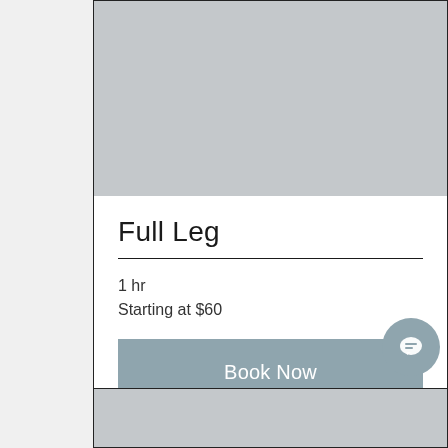[Figure (photo): Gray placeholder image area at top of service card]
Full Leg
1 hr
Starting at $60
Book Now
[Figure (other): Chat bubble icon button, circular, bottom right]
[Figure (photo): Gray placeholder image area at bottom of page (partial second card)]